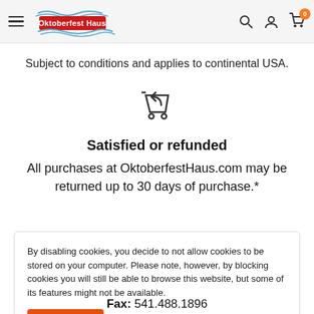Oktoberfest Haus — navigation header with logo, search, account, cart icons
Subject to conditions and applies to continental USA.
[Figure (illustration): Shopping cart with return arrow icon]
Satisfied or refunded
All purchases at OktoberfestHaus.com may be returned up to 30 days of purchase.*
By disabling cookies, you decide to not allow cookies to be stored on your computer. Please note, however, by blocking cookies you will still be able to browse this website, but some of its features might not be available.
Accept
Fax: 541.488.1896